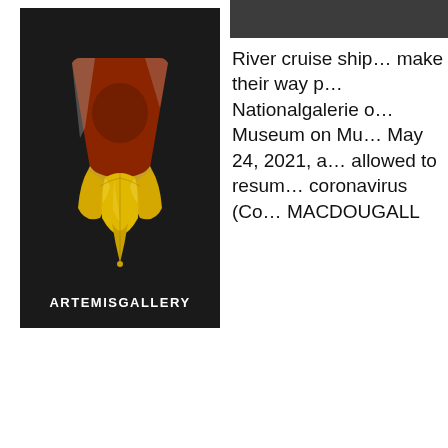[Figure (photo): Photo of an ancient vessel/rhyton with a reddish-brown upper portion and ornate gold metallic leaf-shaped bottom mount, displayed against a dark background. The image is branded with ARTEMIS GALLERY text at the bottom.]
[Figure (photo): Partial/cropped photo visible at top right of page, appears dark/black.]
River cruise ships make their way past Nationalgalerie on Museum on Museumsinsel on May 24, 2021, as tourists are allowed to resume travel amid the coronavirus (Covid-19) pandemic. MACDOUGALL